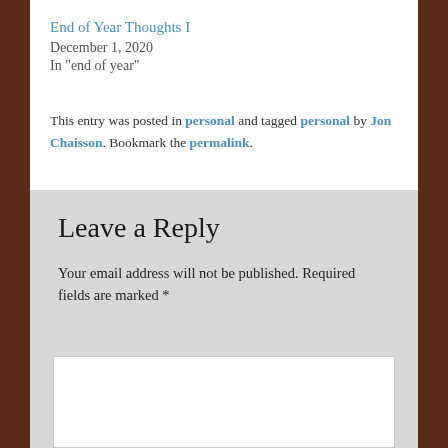End of Year Thoughts I
December 1, 2020
In "end of year"
This entry was posted in personal and tagged personal by Jon Chaisson. Bookmark the permalink.
Leave a Reply
Your email address will not be published. Required fields are marked *
Comment *